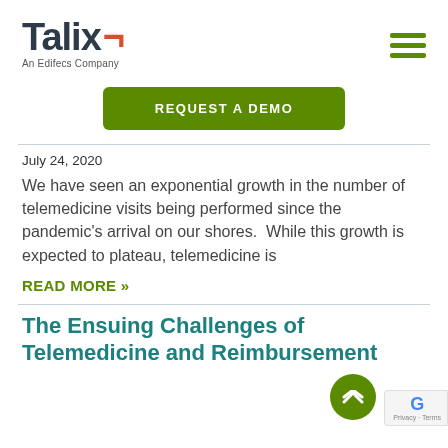[Figure (logo): Talix - An Edifecs Company logo with hamburger menu icon]
REQUEST A DEMO
July 24, 2020
We have seen an exponential growth in the number of telemedicine visits being performed since the pandemic’s arrival on our shores.  While this growth is expected to plateau, telemedicine is
READ MORE »
The Ensuing Challenges of Telemedicine and Reimbursement